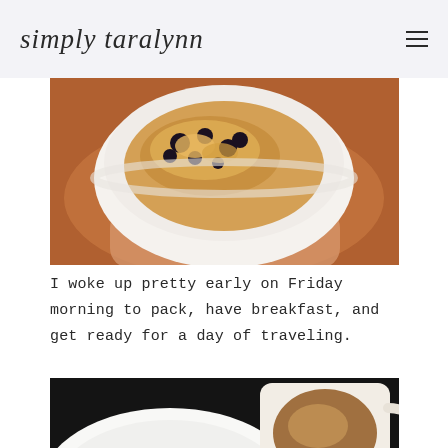simply taralynn
[Figure (photo): Overhead view of a white bowl filled with oatmeal topped with brown sugar and blueberries, held in a hand against a warm orange/brown background]
I woke up pretty early on Friday morning to pack, have breakfast, and get ready for a day of traveling.
[Figure (photo): Flat lay of a white plate and a white mug filled with coffee (latte/cappuccino) on a dark background, with a pen/pencil visible]